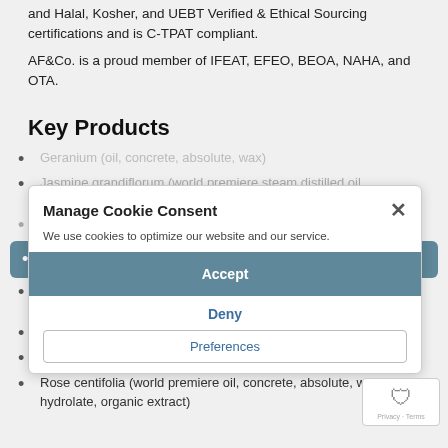and Halal, Kosher, and UEBT Verified & Ethical Sourcing certifications and is C-TPAT compliant.
AF&Co. is a proud member of IFEAT, EFEO, BEOA, NAHA, and OTA.
Key Products
Geranium (oil, concrete, absolute, wax)
Jasmine grandiflorum (world premiere steam distilled oil, concrete, absolute, wax, organic extract)
Neroli (oil, hydrolate, concrete, absolute, wax, organic extract)
Sweet Basil CT Linalol (concrete, absolute, wax, hydrolate)
Blue/German Chamomile (oil, concrete, absolute, wax, organic extract)
Cassie (concrete, absolute, wax, organic extract)
Carnation (concrete, absolute, wax, organic extract)
Rose centifolia (world premiere oil, concrete, absolute, wax, hydrolate, organic extract)